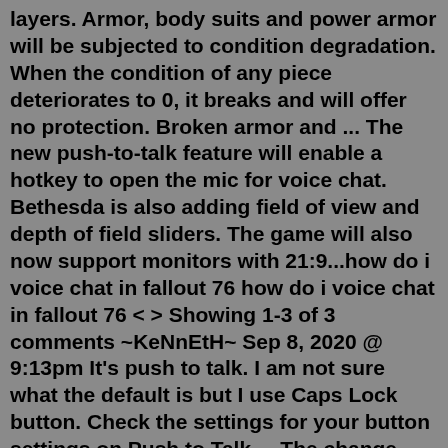layers. Armor, body suits and power armor will be subjected to condition degradation. When the condition of any piece deteriorates to 0, it breaks and will offer no protection. Broken armor and ... The new push-to-talk feature will enable a hotkey to open the mic for voice chat. Bethesda is also adding field of view and depth of field sliders. The game will also now support monitors with 21:9...how do i voice chat in fallout 76 how do i voice chat in fallout 76 < > Showing 1-3 of 3 comments ~KeNnEtH~ Sep 8, 2020 @ 9:13pm It's push to talk. I am not sure what the default is but I use Caps Lock button. Check the settings for your button settings on Push to Talk. ...The change from singleplayer only to an online multiplayer experience will alter the way players interact with the world in Fallout 76. Bethesda has revealed a few more details on the game's in-game chat features that will hopefully be the driving force between player communication. While party chat will be able to be used without issue as many players will